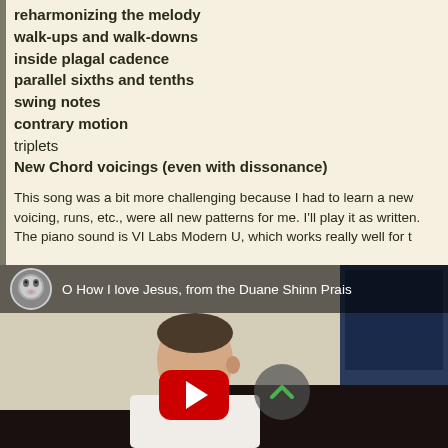reharmonizing the melody
walk-ups and walk-downs
inside plagal cadence
parallel sixths and tenths
swing notes
contrary motion
triplets
New Chord voicings (even with dissonance)
This song was a bit more challenging because I had to learn a new voicing, runs, etc., were all new patterns for me. I'll play it as written. The piano sound is VI Labs Modern U, which works really well for t
[Figure (screenshot): YouTube video thumbnail showing a man playing piano at a grand piano with sheet music, a studio monitor speaker visible, and a YouTube play button overlay. The video title reads 'O How I love Jesus, from the Duane Shinn Prais' with a husky dog avatar icon.]